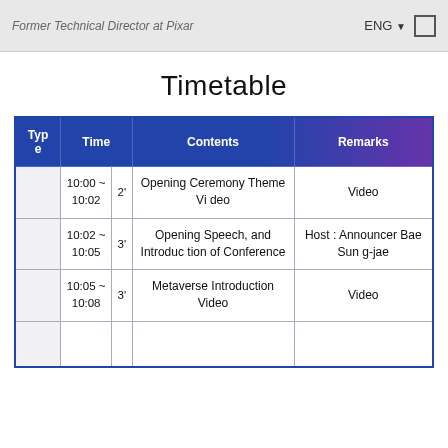Former Technical Director at Pixar   ENG
Timetable
| Type | Time |  | Contents | Remarks |
| --- | --- | --- | --- | --- |
|  | 10:00 ~ 10:02 | 2' | Opening Ceremony Theme Video | Video |
|  | 10:02 ~ 10:05 | 3' | Opening Speech, and Introduction of Conference | Host : Announcer Bae Sun g-jae |
|  | 10:05 ~ 10:08 | 3' | Metaverse Introduction Video | Video |